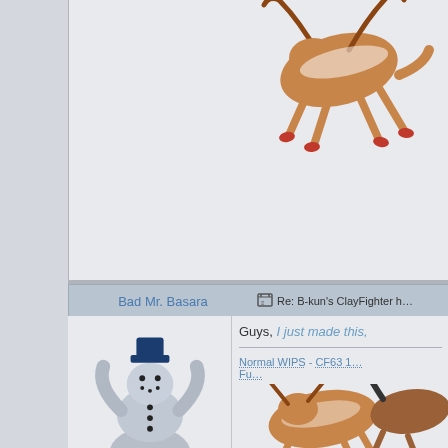[Figure (illustration): Top portion of forum post showing reindeer/creature sprite animation in upper right corner on grey background]
Bad Mr. Basara
Re: B-kun's ClayFighter h…
[Figure (illustration): 3D rendered snowman character with muscular build, blue hat, and buttons - The Snow King of North Pole from ClayFighter game]
★★🏆★★★
The Snow King of North Pole
We both can't be Kings, tubby. There can be only 1
Normal WIPS - CF63 1…
Fu…
Guys, I just made this,
[Figure (illustration): Bottom right area showing reindeer/creature sprite animation continuing from top image]